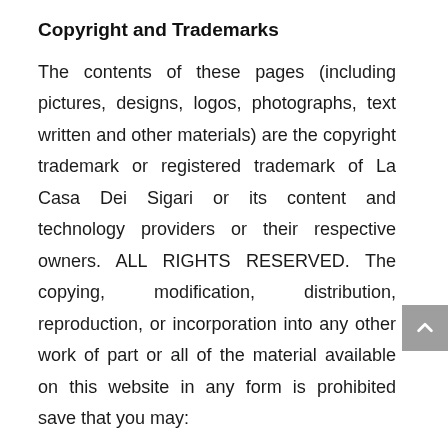Copyright and Trademarks
The contents of these pages (including pictures, designs, logos, photographs, text written and other materials) are the copyright trademark or registered trademark of La Casa Dei Sigari or its content and technology providers or their respective owners. ALL RIGHTS RESERVED. The copying, modification, distribution, reproduction, or incorporation into any other work of part or all of the material available on this website in any form is prohibited save that you may:
Copy, print or download extracts of the